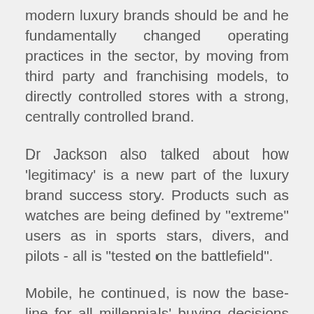modern luxury brands should be and he fundamentally changed operating practices in the sector, by moving from third party and franchising models, to directly controlled stores with a strong, centrally controlled brand.
Dr Jackson also talked about how 'legitimacy' is a new part of the luxury brand success story. Products such as watches are being defined by "extreme" users as in sports stars, divers, and pilots - all is "tested on the battlefield".
Mobile, he continued, is now the baseline for all millennials' buying decisions and this was echoed by CEO of De Beers, Bruce Cleaver last week talking on CNN about this age group being avid readers